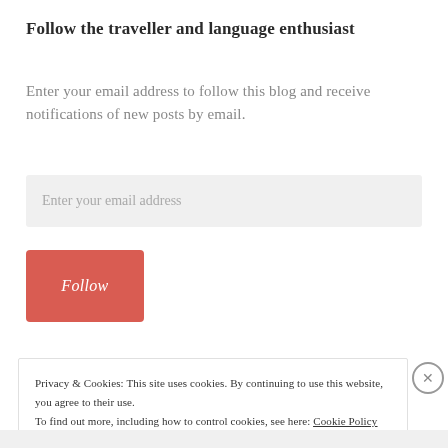Follow the traveller and language enthusiast
Enter your email address to follow this blog and receive notifications of new posts by email.
Enter your email address
Follow
Privacy & Cookies: This site uses cookies. By continuing to use this website, you agree to their use. To find out more, including how to control cookies, see here: Cookie Policy
Close and accept